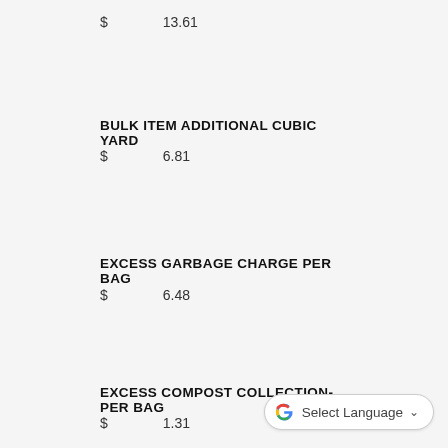$ 13.61
BULK ITEM ADDITIONAL CUBIC YARD
$ 6.81
EXCESS GARBAGE CHARGE PER BAG
$ 6.48
EXCESS COMPOST COLLECTION-PER BAG
$ 1.31